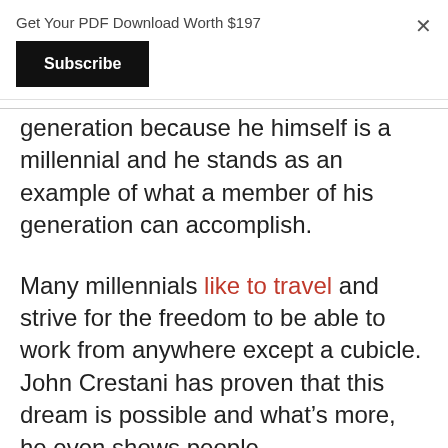Get Your PDF Download Worth $197
Subscribe
generation because he himself is a millennial and he stands as an example of what a member of his generation can accomplish.
Many millennials like to travel and strive for the freedom to be able to work from anywhere except a cubicle. John Crestani has proven that this dream is possible and what’s more, he even shows people